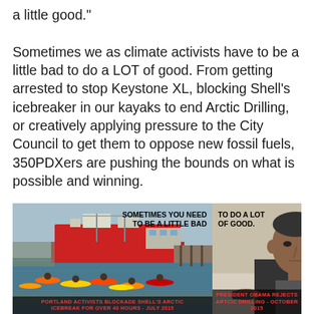a little good."

Sometimes we as climate activists have to be a little bad to do a LOT of good. From getting arrested to stop Keystone XL, blocking Shell's icebreaker in our kayaks to end Arctic Drilling, or creatively applying pressure to the City Council to get them to oppose new fossil fuels, 350PDXers are pushing the bounds on what is possible and winning.
[Figure (photo): Left panel: Photo of Portland activists in kayaks blockading Shell's arctic icebreaker on water with text overlay 'SOMETIMES YOU NEED TO BE A LITTLE BAD' and caption 'PORTLAND ACTIVISTS BLOCKADE SHELL'S ARCTIC ICEBREAK FOR OVER 40 HOURS - JULY 2015'. Right panel: Text 'TO DO A LOT OF GOOD.' with photo of President Obama and caption 'PRESIDENT OBAMA REJECTS ARTCIC DRILLING - OCTOBER 2015'.]